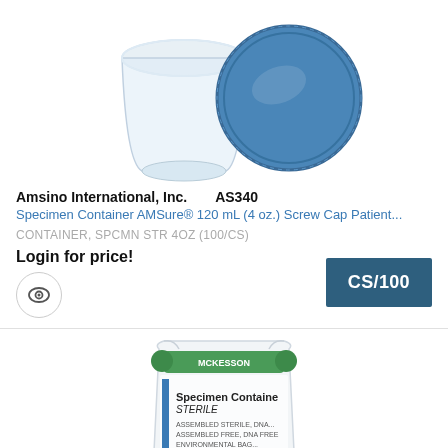[Figure (photo): Specimen container cup (translucent white/clear) with a separate blue screw cap lid, shown from above on white background]
Amsino International, Inc.    AS340
Specimen Container AMSure® 120 mL (4 oz.) Screw Cap Patient...
CONTAINER, SPCMN STR 4OZ (100/CS)
Login for price!
CS/100
[Figure (photo): McKesson branded specimen container sterile packaging bag with blue mosaic/checkered pattern at bottom, showing '4 oz' label, with green screw cap visible at top through the bag]